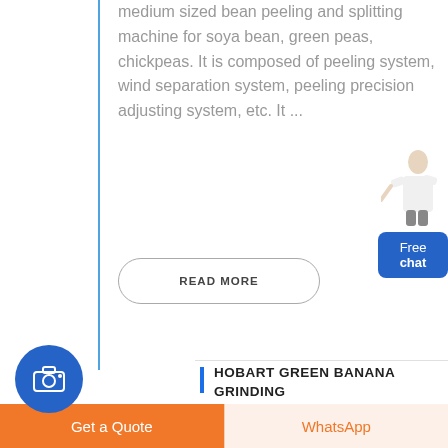…It is a medium sized bean peeling and splitting machine for soya bean, green peas, chickpeas. It is composed of peeling system, wind separation system, peeling precision adjusting system, etc. It …
READ MORE
[Figure (illustration): Customer service representative standing figure with Free chat button widget]
[Figure (illustration): Blue circle with camera icon]
HOBART GREEN BANANA GRINDING MACHINE
Get a Quote
WhatsApp